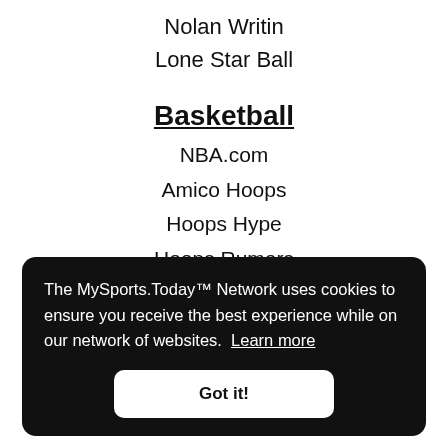Nolan Writin
Lone Star Ball
Basketball
NBA.com
Amico Hoops
Hoops Hype
Hoops Rumors
Last Word On Pro Basketball
Mavs Moneyball
The MySports.Today™ Network uses cookies to ensure you receive the best experience while on our network of websites. Learn more
Got it!